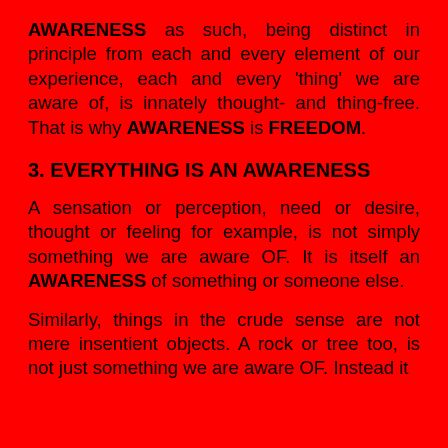AWARENESS as such, being distinct in principle from each and every element of our experience, each and every 'thing' we are aware of, is innately thought- and thing-free. That is why AWARENESS is FREEDOM.
3. EVERYTHING IS AN AWARENESS
A sensation or perception, need or desire, thought or feeling for example, is not simply something we are aware OF. It is itself an AWARENESS of something or someone else.
Similarly, things in the crude sense are not mere insentient objects. A rock or tree too, is not just something we are aware OF. Instead it